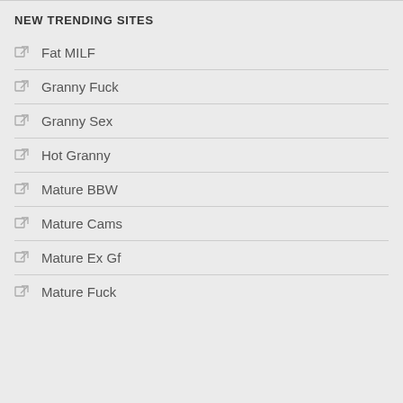NEW TRENDING SITES
Fat MILF
Granny Fuck
Granny Sex
Hot Granny
Mature BBW
Mature Cams
Mature Ex Gf
Mature Fuck